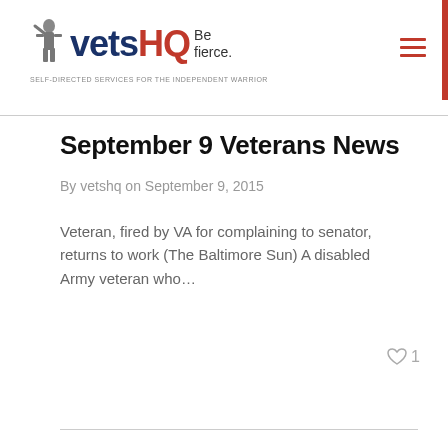vetsHQ Be fierce. SELF-DIRECTED SERVICES FOR THE INDEPENDENT WARRIOR
September 9 Veterans News
By vetshq on September 9, 2015
Veteran, fired by VA for complaining to senator, returns to work (The Baltimore Sun) A disabled Army veteran who...